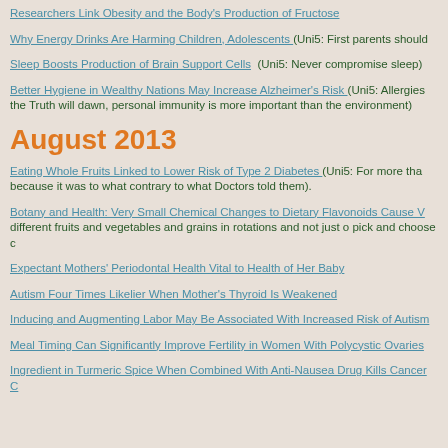Researchers Link Obesity and the Body's Production of Fructose
Why Energy Drinks Are Harming Children, Adolescents (Uni5: First parents should
Sleep Boosts Production of Brain Support Cells (Uni5: Never compromise sleep)
Better Hygiene in Wealthy Nations May Increase Alzheimer's Risk (Uni5: Allergies the Truth will dawn, personal immunity is more important than the environment)
August 2013
Eating Whole Fruits Linked to Lower Risk of Type 2 Diabetes (Uni5: For more tha because it was to what contrary to what Doctors told them).
Botany and Health: Very Small Chemical Changes to Dietary Flavonoids Cause V different fruits and vegetables and grains in rotations and not just o pick and choose c
Expectant Mothers' Periodontal Health Vital to Health of Her Baby
Autism Four Times Likelier When Mother's Thyroid Is Weakened
Inducing and Augmenting Labor May Be Associated With Increased Risk of Autism
Meal Timing Can Significantly Improve Fertility in Women With Polycystic Ovaries
Ingredient in Turmeric Spice When Combined With Anti-Nausea Drug Kills Cancer C